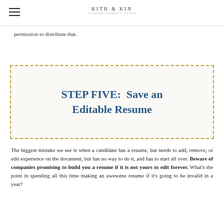KITH & KIN
permission to distribute that.
STEP FIVE:  Save an Editable Resume
The biggest mistake we see is when a candidate has a resume, but needs to add, remove, or edit experience on the document, but has no way to do it, and has to start all over. Beware of companies promising to build you a resume if it is not yours to edit forever. What's the point in spending all this time making an awesome resume if it's going to be invalid in a year?